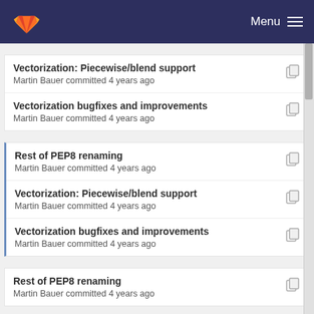Menu
Vectorization: Piecewise/blend support
Martin Bauer committed 4 years ago
Vectorization bugfixes and improvements
Martin Bauer committed 4 years ago
Rest of PEP8 renaming
Martin Bauer committed 4 years ago
Vectorization: Piecewise/blend support
Martin Bauer committed 4 years ago
Vectorization bugfixes and improvements
Martin Bauer committed 4 years ago
Rest of PEP8 renaming
Martin Bauer committed 4 years ago